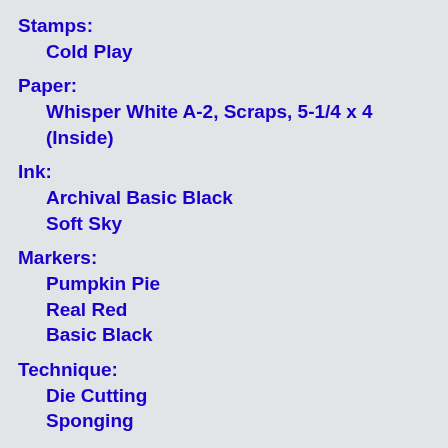Stamps:
Cold Play
Paper:
Whisper White A-2, Scraps, 5-1/4 x 4 (Inside)
Ink:
Archival Basic Black
Soft Sky
Markers:
Pumpkin Pie
Real Red
Basic Black
Technique:
Die Cutting
Sponging